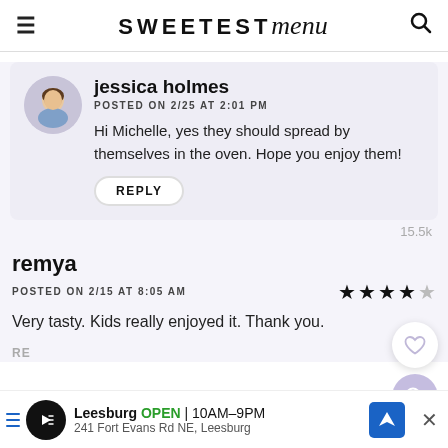SWEETEST menu
jessica holmes
POSTED ON 2/25 AT 2:01 PM
Hi Michelle, yes they should spread by themselves in the oven. Hope you enjoy them!
REPLY
15.5k
remya
POSTED ON 2/15 AT 8:05 AM
Very tasty. Kids really enjoyed it. Thank you.
[Figure (other): Ad banner: Leesburg OPEN 10AM-9PM, 241 Fort Evans Rd NE, Leesburg]